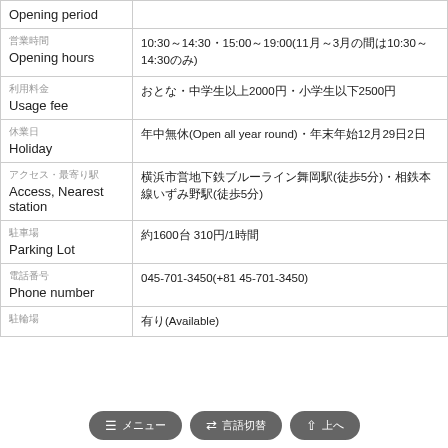| Category | Details |
| --- | --- |
| Opening period |  |
| 営業時間
Opening hours | 10:30～14:30・15:00～19:00(11月～3月の間は10:30～14:30のみ) |
| 利用料金
Usage fee | おとな・中学生以上2000円・小学生以下2500円 |
| 休業日
Holiday | 年中無休(Open all year round)・年末年始12月29日2日 |
| アクセス・最寄り駅
Access, Nearest station | 横浜市営地下鉄ブルーライン舞岡駅(徒歩5分)・相鉄本線いずみ野駅(徒歩5分) |
| 駐車場
Parking Lot | 約1600台 310円/1時間 |
| 電話番号
Phone number | 045-701-3450(+81 45-701-3450) |
| 駐輪場 | 有り(Available) |
≡ メニュー  ⇄ 言語切替  ↑ 上へ